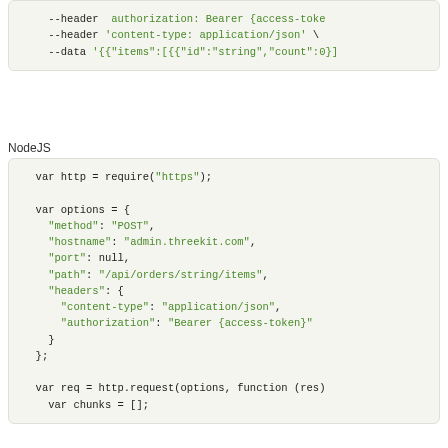--header authorization: Bearer {access-toke
    --header 'content-type: application/json' \
    --data '{"items":[{"id":"string","count":0}]
NodeJS
var http = require("https");

var options = {
  "method": "POST",
  "hostname": "admin.threekit.com",
  "port": null,
  "path": "/api/orders/string/items",
  "headers": {
    "content-type": "application/json",
    "authorization": "Bearer {access-token}"
  }
};

var req = http.request(options, function (res)
  var chunks = [];